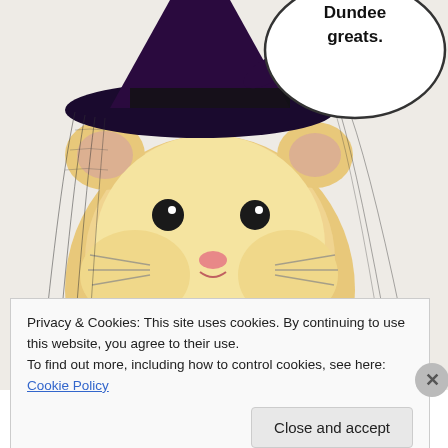[Figure (photo): A hamster wearing a black witch hat with veil, against a white/light background. In the top right is a circular speech bubble with bold text 'Dundee greats.' visible (partially cropped at top). Below the hamster is another partial circular speech bubble reading 'Mary Shelley hamster, William McGonagall'.]
Privacy & Cookies: This site uses cookies. By continuing to use this website, you agree to their use.
To find out more, including how to control cookies, see here: Cookie Policy